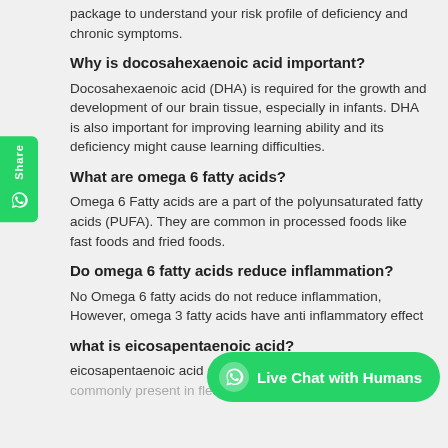package to understand your risk profile of deficiency and chronic symptoms.
Why is docosahexaenoic acid important?
Docosahexaenoic acid (DHA) is required for the growth and development of our brain tissue, especially in infants. DHA is also important for improving learning ability and its deficiency might cause learning difficulties.
What are omega 6 fatty acids?
Omega 6 Fatty acids are a part of the polyunsaturated fatty acids (PUFA). They are common in processed foods like fast foods and fried foods.
Do omega 6 fatty acids reduce inflammation?
No Omega 6 fatty acids do not reduce inflammation, However, omega 3 fatty acids have anti inflammatory effect
what is eicosapentaenoic acid?
eicosapentaenoic acid (EPA) is an omega 3 fatty acid and is commonly present in flesh of fish and fish oils.